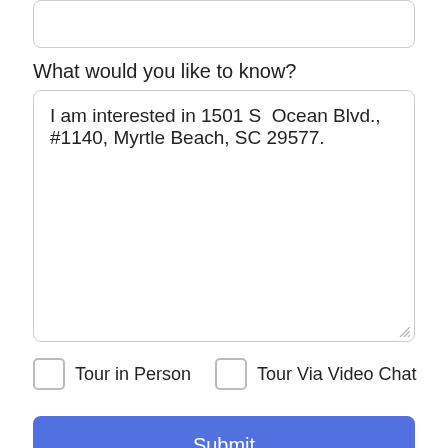What would you like to know?
I am interested in 1501 S Ocean Blvd., #1140, Myrtle Beach, SC 29577.
Tour in Person
Tour Via Video Chat
Submit
Disclaimer: By entering your information and submitting this form, you agree to our Terms of Use and Privacy Policy and that you may be contacted by phone, text message and email about your inquiry.
Take a Tour
Ask A Question